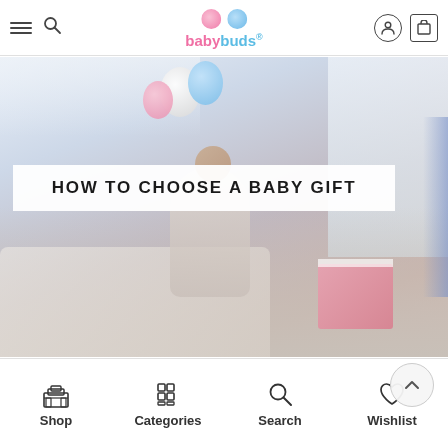babybuds
[Figure (photo): Hero image showing a woman at a baby shower with pink and blue balloons, opening a pink gift box while seated on a white sofa. Text overlay banner reads HOW TO CHOOSE A BABY GIFT.]
HOW TO CHOOSE A BABY GIFT
[Figure (photo): Partial bottom image showing wooden letter blocks (b, d) on a wooden table surface.]
Shop   Categories   Search   Wishlist